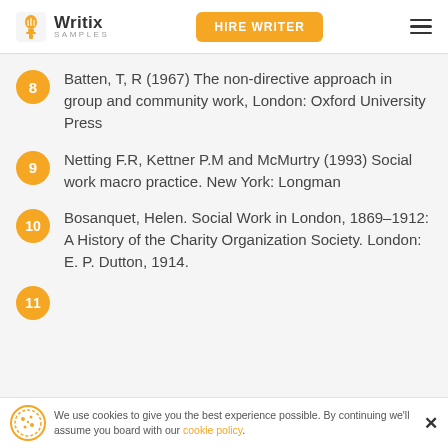Writix SAMPLES | HIRE WRITER
Batten, T, R (1967) The non-directive approach in group and community work, London: Oxford University Press
Netting F.R, Kettner P.M and McMurtry (1993) Social work macro practice. New York: Longman
Bosanquet, Helen. Social Work in London, 1869–1912: A History of the Charity Organization Society. London: E. P. Dutton, 1914.
We use cookies to give you the best experience possible. By continuing we'll assume you board with our cookie policy.